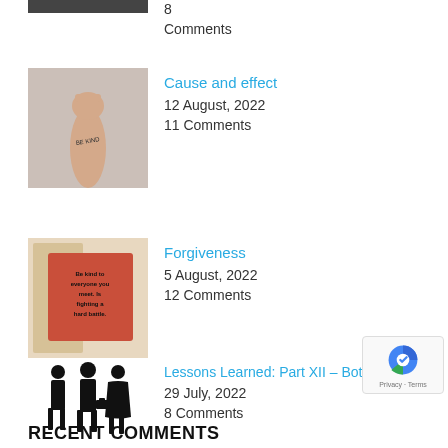8 Comments
[Figure (photo): Arm with 'BE KIND' written on it, raised fist]
Cause and effect
12 August, 2022
11 Comments
[Figure (photo): Red sticky note on window with text about fighting a hard battle]
Forgiveness
5 August, 2022
12 Comments
[Figure (photo): Silhouette of group of people in business attire]
Lessons Learned: Part XII – Bothering
29 July, 2022
8 Comments
RECENT COMMENTS